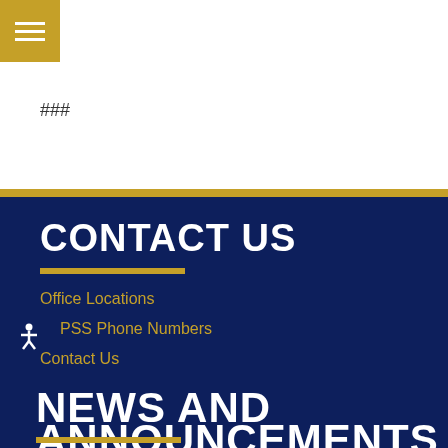###
CONTACT US
Office Locations
PSS Phone Numbers
Contact Us
NEWS AND ANNOUNCEMENTS